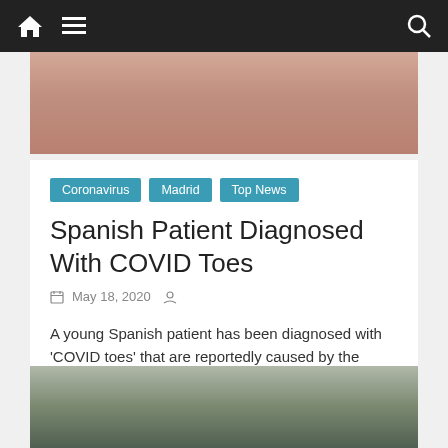Navigation bar with home, menu, and search icons
[Figure (photo): Close-up photograph of skin/toes with reddish discoloration suggesting COVID toes]
Coronavirus
Madrid
Top News
Spanish Patient Diagnosed With COVID Toes
May 18, 2020
A young Spanish patient has been diagnosed with 'COVID toes' that are reportedly caused by the deadly virus. Alejandro Diez,
Read more
[Figure (photo): Street scene with buildings and trees, appears to be a Spanish city]